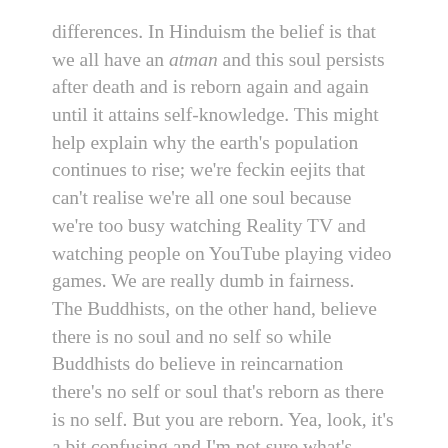differences. In Hinduism the belief is that we all have an atman and this soul persists after death and is reborn again and again until it attains self-knowledge. This might help explain why the earth's population continues to rise; we're feckin eejits that can't realise we're all one soul because we're too busy watching Reality TV and watching people on YouTube playing video games. We are really dumb in fairness.
The Buddhists, on the other hand, believe there is no soul and no self so while Buddhists do believe in reincarnation there's no self or soul that's reborn as there is no self. But you are reborn. Yea, look, it's a bit confusing and I'm not sure what's reincarnated if there's nothing to be incarnated in the first place. Unless everything is an illusion but